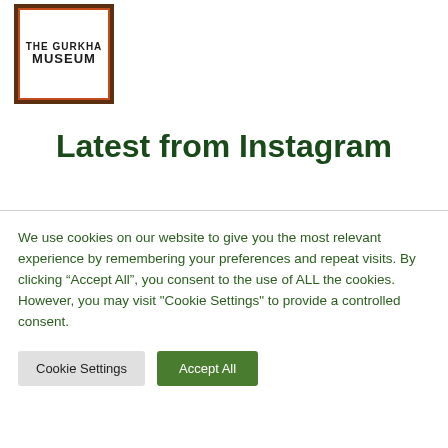[Figure (logo): The Gurkha Museum logo — bordered rectangular box with dark brown outer border and red-orange inner border, text reading 'THE GURKHA MUSEUM' in bold uppercase]
Latest from Instagram
We use cookies on our website to give you the most relevant experience by remembering your preferences and repeat visits. By clicking “Accept All”, you consent to the use of ALL the cookies. However, you may visit "Cookie Settings" to provide a controlled consent.
Cookie Settings | Accept All